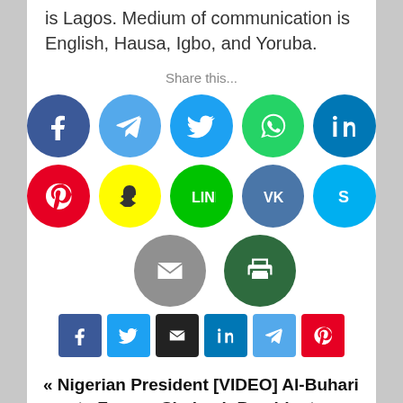is Lagos. Medium of communication is English, Hausa, Igbo, and Yoruba.
Share this...
[Figure (infographic): Social media sharing buttons: Facebook, Telegram, Twitter, WhatsApp, LinkedIn (row 1); Pinterest, Snapchat, LINE, VK, Skype (row 2); Email, Print (row 3 circles); Facebook, Twitter, Email, LinkedIn, Telegram, Pinterest (row 4 squares)]
« Nigerian President [VIDEO] Al-Buhari meets Former Shabaab President, Jonathan. See what happened.  Militants Kill Six People In Kenya